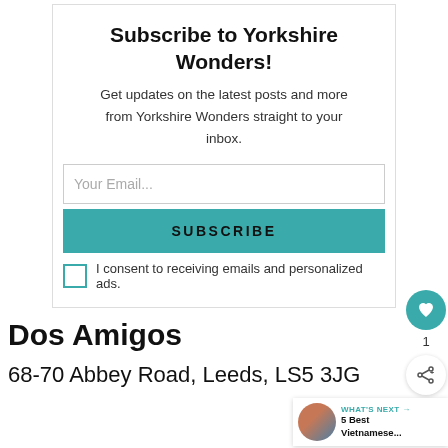Subscribe to Yorkshire Wonders!
Get updates on the latest posts and more from Yorkshire Wonders straight to your inbox.
Your Email...
SUBSCRIBE
I consent to receiving emails and personalized ads.
Dos Amigos
68-70 Abbey Road, Leeds, LS5 3JG
WHAT'S NEXT → 5 Best Vietnamese...